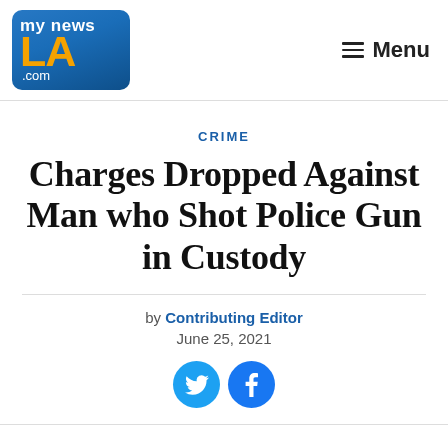[Figure (logo): MyNewsLA.com logo — blue gradient background, 'my news' in white, 'LA' in orange, '.com' in white]
≡ Menu
CRIME
Charges Dropped Against Man who Shot Police Gun in Custody
by Contributing Editor
June 25, 2021